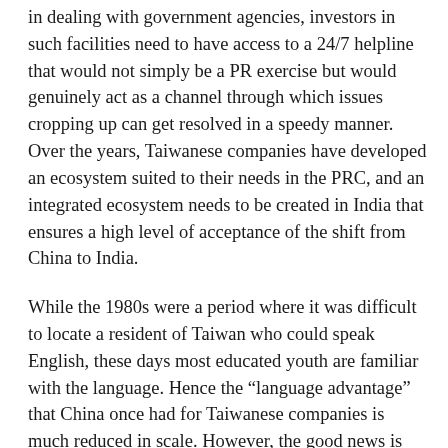in dealing with government agencies, investors in such facilities need to have access to a 24/7 helpline that would not simply be a PR exercise but would genuinely act as a channel through which issues cropping up can get resolved in a speedy manner. Over the years, Taiwanese companies have developed an ecosystem suited to their needs in the PRC, and an integrated ecosystem needs to be created in India that ensures a high level of acceptance of the shift from China to India.
While the 1980s were a period where it was difficult to locate a resident of Taiwan who could speak English, these days most educated youth are familiar with the language. Hence the “language advantage” that China once had for Taiwanese companies is much reduced in scale. However, the good news is that the number of Indian students in Taiwan is growing, assisted by the fact that the degrees of one side is recognised by the other. Additionally, what is needed is for young Taiwanese to form a “Peace through Language Corps” and come to India for a year or two to teach Mandarin. Should the Taiwanese government encourage companies to treat such sojourns as unpaid leave, or accept such activities as the